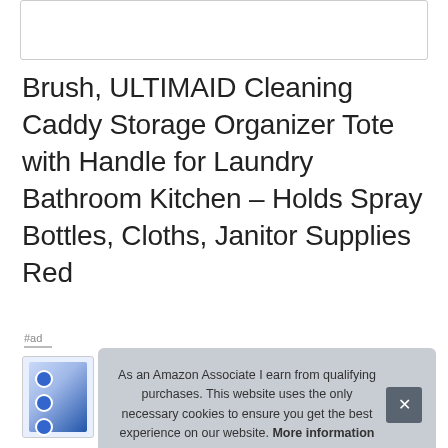[Figure (other): Top bordered rectangle/box, likely an image placeholder]
Brush, ULTIMAID Cleaning Caddy Storage Organizer Tote with Handle for Laundry Bathroom Kitchen – Holds Spray Bottles, Cloths, Janitor Supplies Red
#ad
[Figure (photo): Product thumbnail image showing cleaning caddy with blue circular icons and checkmarks]
As an Amazon Associate I earn from qualifying purchases. This website uses the only necessary cookies to ensure you get the best experience on our website. More information